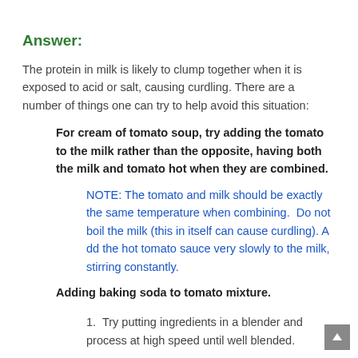Answer:
The protein in milk is likely to clump together when it is exposed to acid or salt, causing curdling. There are a number of things one can try to help avoid this situation:
For cream of tomato soup, try adding the tomato to the milk rather than the opposite, having both the milk and tomato hot when they are combined.
NOTE: The tomato and milk should be exactly the same temperature when combining.  Do not boil the milk (this in itself can cause curdling). A dd the hot tomato sauce very slowly to the milk, stirring constantly.
Adding baking soda to tomato mixture.
1.  Try putting ingredients in a blender and process at high speed until well blended.